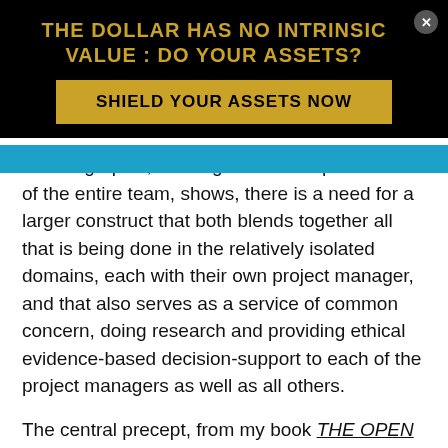THE DOLLAR HAS NO INTRINSIC VALUE : DO YOUR ASSETS?
[Figure (infographic): Gold button with text SHIELD YOUR ASSETS NOW on black background]
As this graphic, building on the complex vision of the entire team, shows, there is a need for a larger construct that both blends together all that is being done in the relatively isolated domains, each with their own project manager, and that also serves as a service of common concern, doing research and providing ethical evidence-based decision-support to each of the project managers as well as all others.
The central precept, from my book THE OPEN SOURCE EVERYTHING MANIFESTO: Transparency, Truth, & Trust (North Atlantic Books / Evolver Editions, 2012) is that one must embrace all of the opens together. They are a "package deal." Hence this interpretation of the President's vision adds